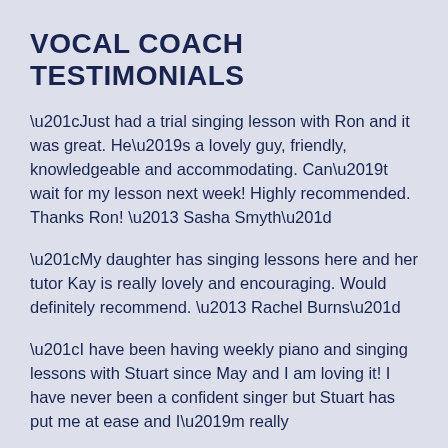VOCAL COACH TESTIMONIALS
“Just had a trial singing lesson with Ron and it was great. He’s a lovely guy, friendly, knowledgeable and accommodating. Can’t wait for my lesson next week! Highly recommended. Thanks Ron! – Sasha Smyth”
“My daughter has singing lessons here and her tutor Kay is really lovely and encouraging. Would definitely recommend. – Rachel Burns”
“I have been having weekly piano and singing lessons with Stuart since May and I am loving it! I have never been a confident singer but Stuart has put me at ease and I’m really